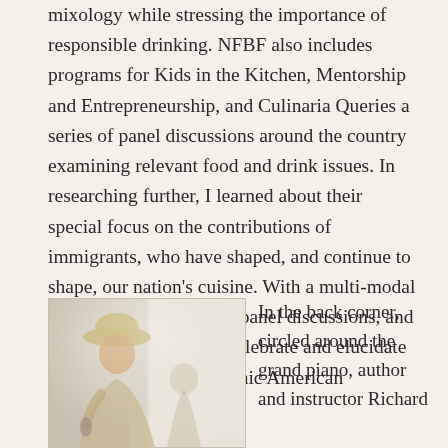mixology while stressing the importance of responsible drinking. NFBF also includes programs for Kids in the Kitchen, Mentorship and Entrepreneurship, and Culinaria Queries a series of panel discussions around the country examining relevant food and drink issues. In researching further, I learned about their special focus on the contributions of immigrants, who have shaped, and continue to shape, our nation's cuisine. With a multi-modal approach with galleries, panel discussions, and events, these institutes celebrate and elucidate the unique history of iconic American cocktails.
[Figure (photo): A person wearing a light-colored hat and casual clothing stands near a bright window, appearing to speak or hold something. The image has a soft, bright background.]
In the back corner, circled around the grand piano, author and instructor Richard